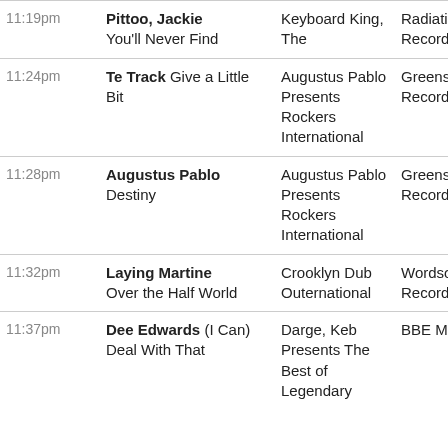| Time | Artist / Track | Album | Label |
| --- | --- | --- | --- |
| 11:19pm | Pittoo, Jackie  You'll Never Find | Keyboard King, The | Radiation Records |
| 11:24pm | Te Track  Give a Little Bit | Augustus Pablo Presents Rockers International | Greensleeves Records L |
| 11:28pm | Augustus Pablo  Destiny | Augustus Pablo Presents Rockers International | Greensleeves Records L |
| 11:32pm | Laying Martine  Over the Half World | Crooklyn Dub Outernational | Wordsound Recordings |
| 11:37pm | Dee Edwards  (I Can) Deal With That | Darge, Keb Presents The Best of Legendary | BBE Music |